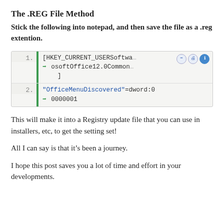The .REG File Method
Stick the following into notepad, and then save the file as a .reg extention.
[Figure (screenshot): Code block showing two numbered lines of Windows registry code: line 1 has [HKEY_CURRENT_USERSoftwa... with osoftOffice12.0Common... ], line 2 has "OfficeMenuDiscovered"=dword:0 and 0000001, with icons (forward, print, info) in top right corner, green vertical bar on left side, green arrow icons for wrapped lines.]
This will make it into a Registry update file that you can use in installers, etc, to get the setting set!
All I can say is that it’s been a journey.
I hope this post saves you a lot of time and effort in your developments.